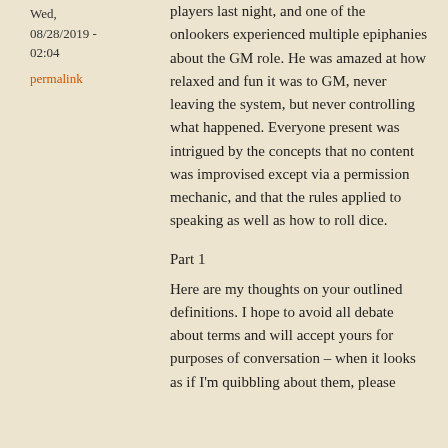Wed,
08/28/2019 -
02:04
permalink
players last night, and one of the onlookers experienced multiple epiphanies about the GM role. He was amazed at how relaxed and fun it was to GM, never leaving the system, but never controlling what happened. Everyone present was intrigued by the concepts that no content was improvised except via a permission mechanic, and that the rules applied to speaking as well as how to roll dice.
Part 1
Here are my thoughts on your outlined definitions. I hope to avoid all debate about terms and will accept yours for purposes of conversation – when it looks as if I'm quibbling about them, please